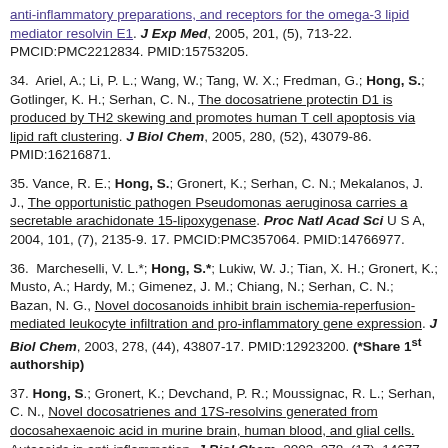(continuation) anti-inflammatory preparations, and receptors for the omega-3 lipid mediator resolvin E1. J Exp Med, 2005, 201, (5), 713-22. PMCID:PMC2212834. PMID:15753205.
34. Ariel, A.; Li, P. L.; Wang, W.; Tang, W. X.; Fredman, G.; Hong, S.; Gotlinger, K. H.; Serhan, C. N., The docosatriene protectin D1 is produced by TH2 skewing and promotes human T cell apoptosis via lipid raft clustering. J Biol Chem, 2005, 280, (52), 43079-86. PMID:16216871.
35. Vance, R. E.; Hong, S.; Gronert, K.; Serhan, C. N.; Mekalanos, J. J., The opportunistic pathogen Pseudomonas aeruginosa carries a secretable arachidonate 15-lipoxygenase. Proc Natl Acad Sci U S A, 2004, 101, (7), 2135-9. 17. PMCID:PMC357064. PMID:14766977.
36. Marcheselli, V. L.*; Hong, S.*; Lukiw, W. J.; Tian, X. H.; Gronert, K.; Musto, A.; Hardy, M.; Gimenez, J. M.; Chiang, N.; Serhan, C. N.; Bazan, N. G., Novel docosanoids inhibit brain ischemia-reperfusion-mediated leukocyte infiltration and pro-inflammatory gene expression. J Biol Chem, 2003, 278, (44), 43807-17. PMID:12923200. (*Share 1st authorship)
37. Hong, S.; Gronert, K.; Devchand, P. R.; Moussignac, R. L.; Serhan, C. N., Novel docosatrienes and 17S-resolvins generated from docosahexaenoic acid in murine brain, human blood, and glial cells. Autacoids in anti-inflammation. J Biol Chem, 2003, 278, (17), 14677-